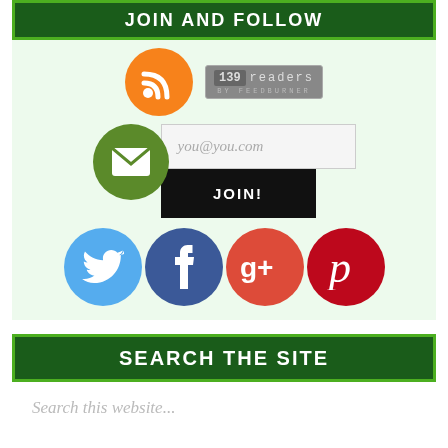JOIN AND FOLLOW
[Figure (infographic): RSS feed icon (orange circle with white RSS symbol) and FeedBurner badge showing 139 readers]
[Figure (infographic): Green email icon circle and email subscription form with you@you.com placeholder and JOIN! button]
[Figure (infographic): Four social media circular icons: Twitter (blue), Facebook (dark blue), Google+ (red-orange), Pinterest (red)]
SEARCH THE SITE
Search this website...